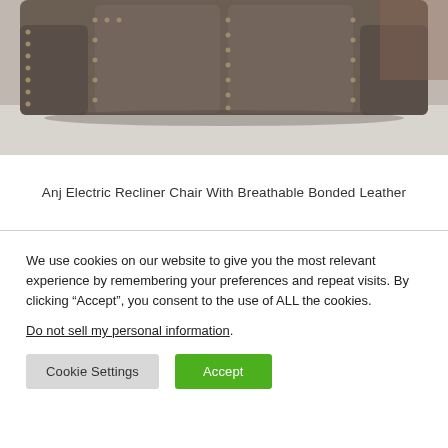[Figure (photo): Close-up photograph of a dark brown/grey leather recliner chair with decorative brass nail-head trim details along the arms and back, set against a light grey carpet with a brick wall visible in the background.]
Anj Electric Recliner Chair With Breathable Bonded Leather
We use cookies on our website to give you the most relevant experience by remembering your preferences and repeat visits. By clicking “Accept”, you consent to the use of ALL the cookies.
Do not sell my personal information.
Cookie Settings   Accept